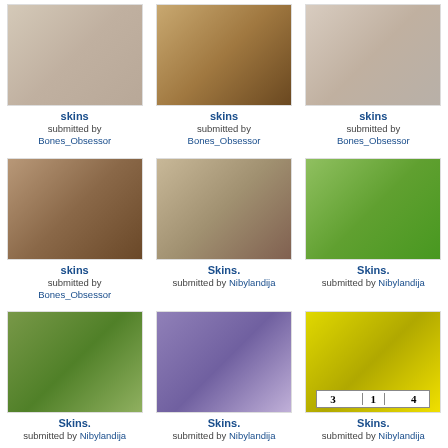[Figure (photo): Photo of a young blonde woman near a door with flowers]
skins
submitted by
Bones_Obsessor
[Figure (photo): Photo of a blonde woman in profile with warm tones]
skins
submitted by
Bones_Obsessor
[Figure (photo): Photo of a young blonde woman looking down]
skins
submitted by
Bones_Obsessor
[Figure (photo): Photo of a young woman with brown hair at night]
skins
submitted by
Bones_Obsessor
[Figure (photo): Close-up artistic photo of a woman's face]
Skins.
submitted by Nibylandija
[Figure (photo): Photo of a woman outdoors in green setting]
Skins.
submitted by Nibylandija
[Figure (photo): Photo collage with handwriting and outdoor scene]
Skins.
submitted by Nibylandija
[Figure (photo): Close-up of a woman's eye in purple tones]
Skins.
submitted by Nibylandija
[Figure (photo): Group photo with yellow border and numbers 3 1 4]
Skins.
submitted by Nibylandija
[Figure (photo): Photo collage of two people, dark tones]
Skins.
submitted by Nibylandija
[Figure (photo): Light blue toned photo of couple]
Skins.
submitted by Nibylandija
[Figure (photo): Dark close-up portrait of a woman with dark hair]
Skins.
submitted by Nibylandija